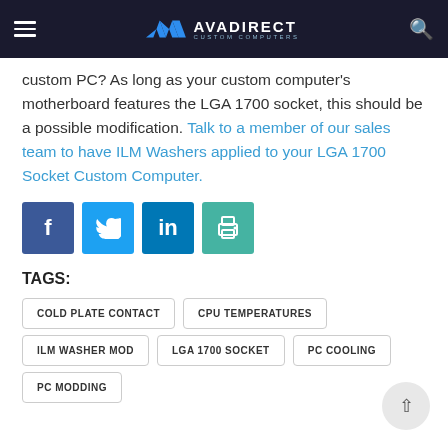AVADirect Custom Computers
custom PC? As long as your custom computer's motherboard features the LGA 1700 socket, this should be a possible modification. Talk to a member of our sales team to have ILM Washers applied to your LGA 1700 Socket Custom Computer.
[Figure (other): Social media share buttons: Facebook, Twitter, LinkedIn, Print]
TAGS:
COLD PLATE CONTACT
CPU TEMPERATURES
ILM WASHER MOD
LGA 1700 SOCKET
PC COOLING
PC MODDING